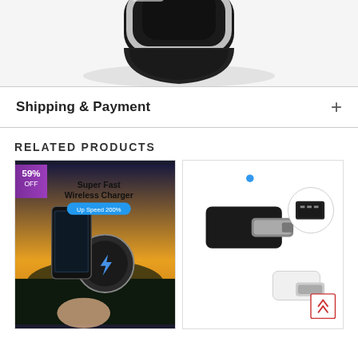[Figure (photo): Partial product image of a black and silver car phone mount/holder viewed from above, with shadow below, cropped at top of page]
Shipping & Payment
RELATED PRODUCTS
[Figure (photo): Super Fast Wireless Charger product listing image showing 59% OFF badge in purple, a smartphone in a wireless car charger mount, with text 'Super Fast Wireless Charger Up Speed 200%']
[Figure (photo): USB Type-C OTG adapter product image showing a black adapter and a white adapter with USB-A port detail callout, with scroll-to-top arrow button in bottom right]